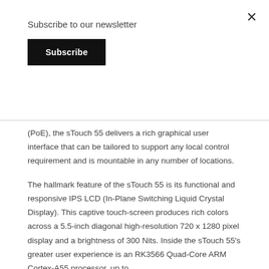Subscribe to our newsletter
Subscribe
(PoE), the sTouch 55 delivers a rich graphical user interface that can be tailored to support any local control requirement and is mountable in any number of locations.
The hallmark feature of the sTouch 55 is its functional and responsive IPS LCD (In-Plane Switching Liquid Crystal Display). This captive touch-screen produces rich colors across a 5.5-inch diagonal high-resolution 720 x 1280 pixel display and a brightness of 300 Nits. Inside the sTouch 55's greater user experience is an RK3566 Quad-Core ARM Cortex-A55 processor, up to